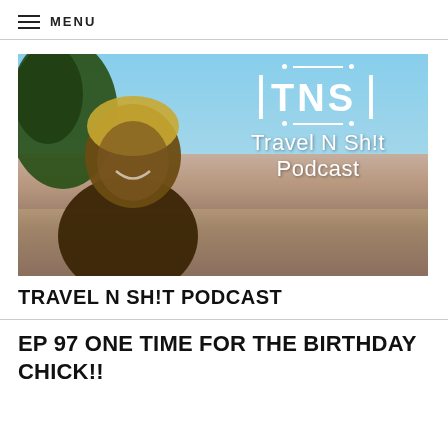≡ MENU
[Figure (photo): Podcast cover image showing a smiling person with short blonde hair at the Grand Canyon, with a pine tree on the left, canyon layers in the background, and the Travel N Sh!t Podcast logo (TNS) in the upper right with white handwritten text.]
TRAVEL N SH!T PODCAST
EP 97 ONE TIME FOR THE BIRTHDAY CHICK!!